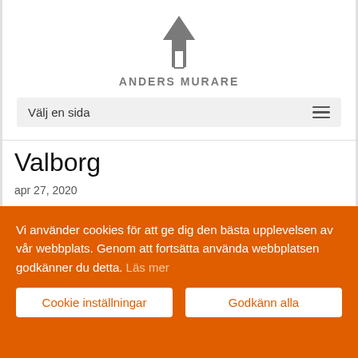[Figure (logo): Anders Murare logo with upward arrow icon and gray text 'ANDERS MURARE']
Välj en sida
Valborg
apr 27, 2020
Vi använder cookies för att ge dig den bästa upplevelsen av vår webbplats. Genom att fortsätta använda webbplatsen godkänner du detta. Läs mer
Cookie inställningar
Godkänn alla